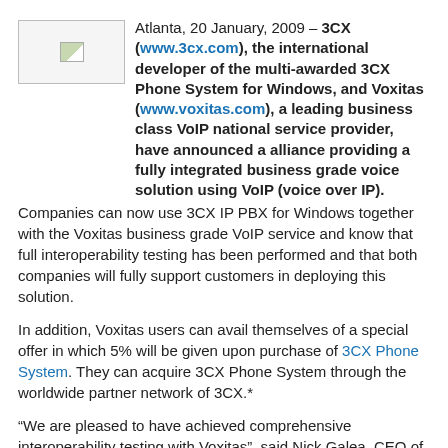Atlanta, 20 January, 2009 – 3CX (www.3cx.com), the international developer of the multi-awarded 3CX Phone System for Windows, and Voxitas (www.voxitas.com), a leading business class VoIP national service provider, have announced a alliance providing a fully integrated business grade voice solution using VoIP (voice over IP).
Companies can now use 3CX IP PBX for Windows together with the Voxitas business grade VoIP service and know that full interoperability testing has been performed and that both companies will fully support customers in deploying this solution.
In addition, Voxitas users can avail themselves of a special offer in which 5% will be given upon purchase of 3CX Phone System. They can acquire 3CX Phone System through the worldwide partner network of 3CX.*
“We are pleased to have achieved comprehensive interoperability testing with Voxitas”, said Nick Galea, CEO of